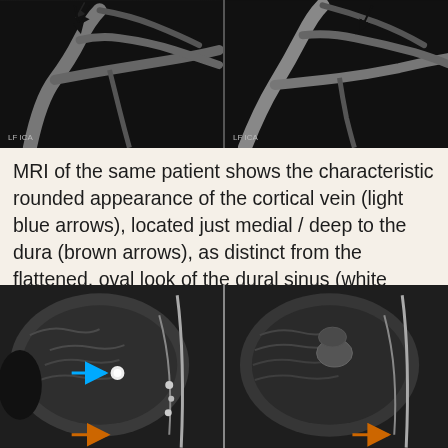[Figure (photo): Two side-by-side cerebral angiography images showing cerebral vasculature with black arrows pointing to areas of interest. Left panel labeled LF ICA, right panel labeled LF ICA.]
MRI of the same patient shows the characteristic rounded appearance of the cortical vein (light blue arrows), located just medial / deep to the dura (brown arrows), as distinct from the flattened, oval look of the dural sinus (white arrow). The post-contrast high-resolution T1-weighted images are the best way to look for dural sinuses like this one on non-invasive imaging
[Figure (photo): Two side-by-side MRI brain images (post-contrast T1-weighted) showing cortical vein anatomy. Left panel has a cyan/blue arrow pointing to a bright rounded structure (cortical vein) and an orange arrow at the bottom pointing to the dura. Right panel shows the same anatomy without contrast enhancement, with an orange arrow at the bottom.]